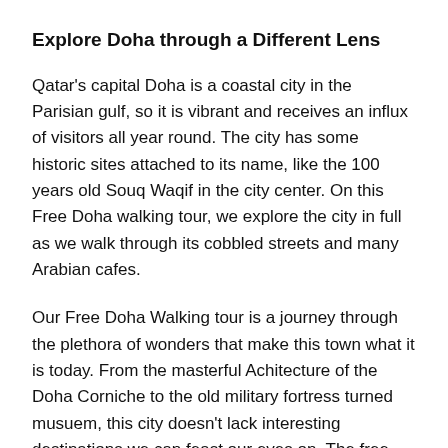Explore Doha through a Different Lens
Qatar's capital Doha is a coastal city in the Parisian gulf, so it is vibrant and receives an influx of visitors all year round. The city has some historic sites attached to its name, like the 100 years old Souq Waqif in the city center. On this Free Doha walking tour, we explore the city in full as we walk through its cobbled streets and many Arabian cafes.
Our Free Doha Walking tour is a journey through the plethora of wonders that make this town what it is today. From the masterful Achitecture of the Doha Corniche to the old military fortress turned musuem, this city doesn't lack interesting destinations we can feast our eyes on. The free Doha walking tour is an invitation to discover all of the beautiful wonders this town has hidden behind its walls.